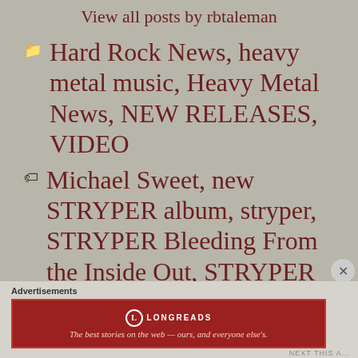View all posts by rbtaleman
Hard Rock News, heavy metal music, Heavy Metal News, NEW RELEASES, VIDEO
Michael Sweet, new STRYPER album, stryper, STRYPER Bleeding From the Inside Out, STRYPER
Advertisements
[Figure (screenshot): Longreads advertisement banner: red background with Longreads logo and tagline 'The best stories on the web — ours, and everyone else's.']